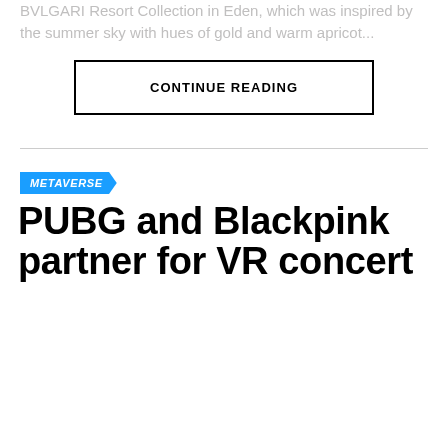BVLGARI Resort Collection in Eden, which was inspired by the summer sky with hues of gold and warm apricot...
CONTINUE READING
METAVERSE
PUBG and Blackpink partner for VR concert